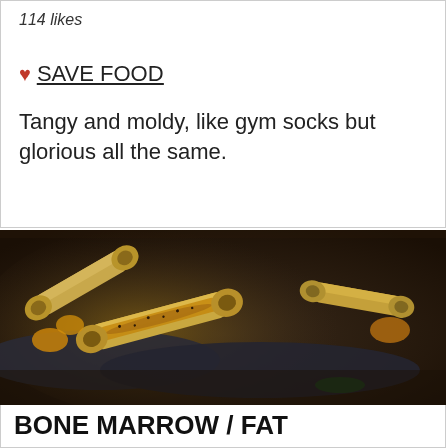114 likes
♥ SAVE FOOD
Tangy and moldy, like gym socks but glorious all the same.
[Figure (photo): Close-up photo of roasted bone marrow pieces with seasoning on dark slate plates, dark moody restaurant background]
BONE MARROW / FAT